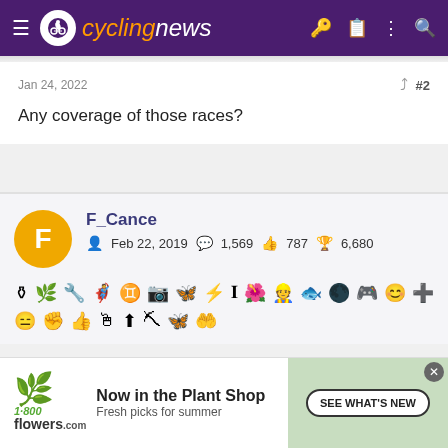cyclingnews
Jan 24, 2022   #2
Any coverage of those races?
F_Cance — Feb 22, 2019 — 1,569 — 787 — 6,680
Jan 24, 2022   #3
[Figure (screenshot): 1-800-Flowers advertisement: Now in the Plant Shop. Fresh picks for summer. SEE WHAT'S NEW button.]